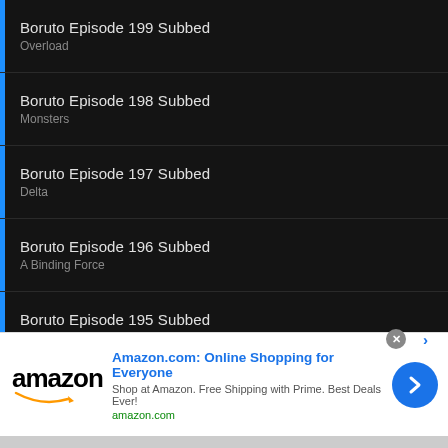Boruto Episode 199 Subbed
Overload
Boruto Episode 198 Subbed
Monsters
Boruto Episode 197 Subbed
Delta
Boruto Episode 196 Subbed
A Binding Force
Boruto Episode 195 Subbed
A Vase
Boruto Episode 194 Subbed
[Figure (screenshot): Amazon advertisement banner with logo, headline 'Amazon.com: Online Shopping for Everyone', subtext 'Shop at Amazon. Free Shipping with Prime. Best Deals Ever!', URL 'amazon.com', and a blue circular CTA button with right arrow.]